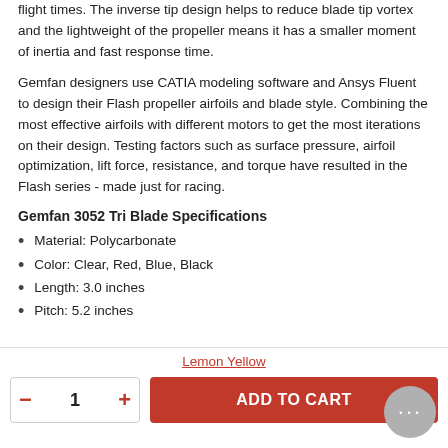flight times. The inverse tip design helps to reduce blade tip vortex and the lightweight of the propeller means it has a smaller moment of inertia and fast response time.
Gemfan designers use CATIA modeling software and Ansys Fluent to design their Flash propeller airfoils and blade style. Combining the most effective airfoils with different motors to get the most iterations on their design. Testing factors such as surface pressure, airfoil optimization, lift force, resistance, and torque have resulted in the Flash series - made just for racing.
Gemfan 3052 Tri Blade Specifications
Material: Polycarbonate
Color: Clear, Red, Blue, Black
Length: 3.0 inches
Pitch: 5.2 inches
Lemon Yellow
ADD TO CART